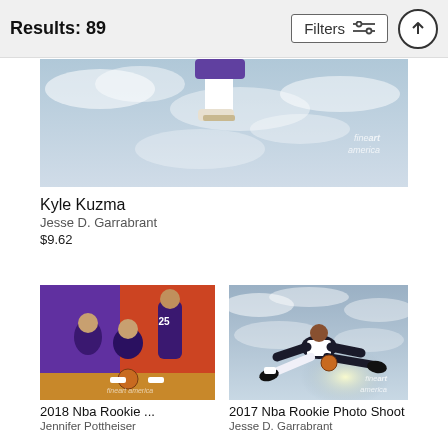Results: 89   Filters
[Figure (photo): Cropped photo of Kyle Kuzma jumping, showing legs in purple shorts and white shoes against a cloudy sky, with fineart america watermark]
Kyle Kuzma
Jesse D. Garrabrant
$9.62
[Figure (photo): 2018 NBA Rookie photo shoot with three players in Phoenix Suns purple uniforms against a purple and orange backdrop]
[Figure (photo): 2017 NBA Rookie photo shoot with a player appearing to fly through a cloudy sky holding a basketball, with fineart america watermark]
2018 Nba Rookie ...
Jennifer Pottheiser
2017 Nba Rookie Photo Shoot
Jesse D. Garrabrant